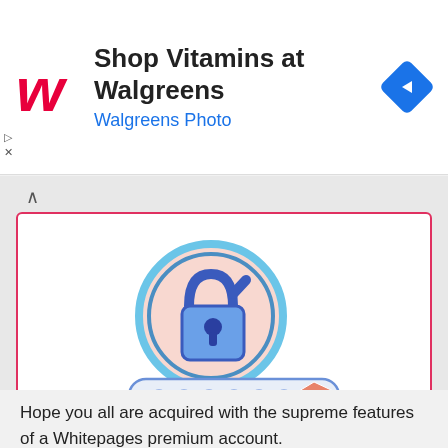[Figure (screenshot): Walgreens ad banner with red cursive W logo, text 'Shop Vitamins at Walgreens' and 'Walgreens Photo' in blue, and a blue diamond navigation icon on the right]
[Figure (illustration): Illustration of an open padlock in a pink circle with blue outline, above a password input field with blue dots and a pink cursor arrow]
Free Whitepages Premier Accounts and Passwords
Hope you all are acquired with the supreme features of a Whitepages premium account.